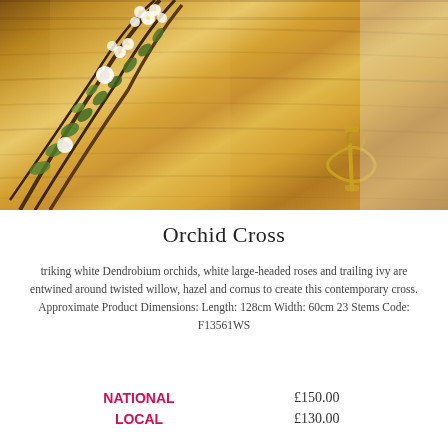[Figure (photo): Close-up photograph of a wooden coffin with a floral arrangement of white Dendrobium orchids, white large-headed roses and trailing ivy entwined around twisted willow, hazel and cornus branches, with a gold handle visible on the right side.]
Orchid Cross
triking white Dendrobium orchids, white large-headed roses and trailing ivy are entwined around twisted willow, hazel and cornus to create this contemporary cross. Approximate Product Dimensions: Length: 128cm Width: 60cm 23 Stems Code: F13561WS
NATIONAL   £150.00
LOCAL   £130.00